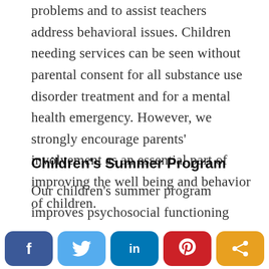problems and to assist teachers address behavioral issues. Children needing services can be seen without parental consent for all substance use disorder treatment and for a mental health emergency. However, we strongly encourage parents' involvement as an essential part of improving the well being and behavior of children.
Children's Summer Program
Our children's summer program improves psychosocial functioning and enhance pro-social behavior. The eight-week program is held mid-June through early-
[Figure (other): Social media sharing buttons: Facebook (blue), Twitter (light blue), LinkedIn (dark blue), Pinterest (red), Share (orange)]